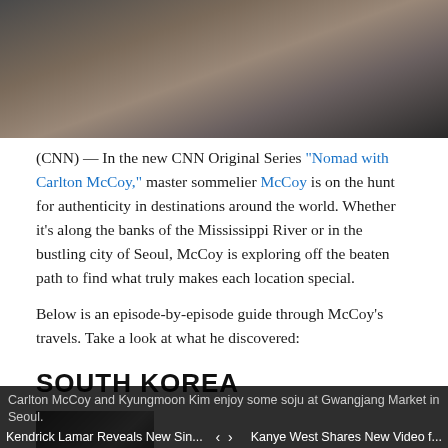[Figure (photo): Dark blurred hero image, muted tones of grey, brown and dark tones]
(CNN) — In the new CNN Original Series "Nomad with Carlton McCoy," master sommelier McCoy is on the hunt for authenticity in destinations around the world. Whether it's along the banks of the Mississippi River or in the bustling city of Seoul, McCoy is exploring off the beaten path to find what truly makes each location special.
Below is an episode-by-episode guide through McCoy's travels. Take a look at what he discovered:
SOUTH KOREA
[Figure (photo): Small thumbnail image, dark blurred photo]
Carlton McCoy and Kyungmoon Kim enjoy some soju at Gwangjang Market in Seoul.
Kendrick Lamar Reveals New Sin... < > Kanye West Shares New Video f...